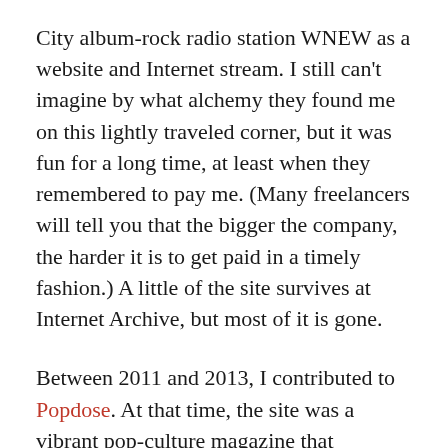City album-rock radio station WNEW as a website and Internet stream. I still can't imagine by what alchemy they found me on this lightly traveled corner, but it was fun for a long time, at least when they remembered to pay me. (Many freelancers will tell you that the bigger the company, the harder it is to get paid in a timely fashion.) A little of the site survives at Internet Archive, but most of it is gone.
Between 2011 and 2013, I contributed to Popdose. At that time, the site was a vibrant pop-culture magazine that deserved an audience of millions—it was that good, with an excellent stable of writers and inventive content. One Day in Your Life